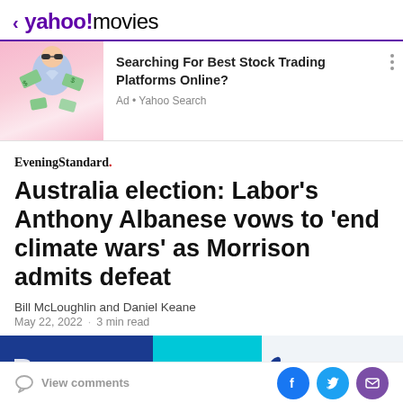< yahoo!movies
[Figure (photo): Advertisement banner: Man with sunglasses in a pink background with money, promoting stock trading platforms]
Searching For Best Stock Trading Platforms Online?
Ad • Yahoo Search
EveningStandard.
Australia election: Labor's Anthony Albanese vows to 'end climate wars' as Morrison admits defeat
Bill McLoughlin and Daniel Keane
May 22, 2022 · 3 min read
[Figure (photo): Bottom image strip showing blue and cyan colored banner with partial article photo]
View comments